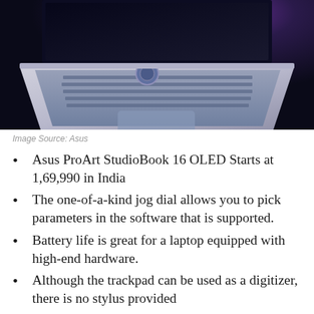[Figure (photo): Photo of an Asus ProArt StudioBook 16 OLED laptop viewed from above/front, showing keyboard and touchpad, on a dark purple/blue background]
Image Source: Asus
Asus ProArt StudioBook 16 OLED Starts at 1,69,990 in India
The one-of-a-kind jog dial allows you to pick parameters in the software that is supported.
Battery life is great for a laptop equipped with high-end hardware.
Although the trackpad can be used as a digitizer, there is no stylus provided
The power button functions as a fingerprint sensor of Asus ProArt StudioBook 16 OLED.
Power users will love the Asus ProArt StudioBook 16 OLED's extensive connectivity